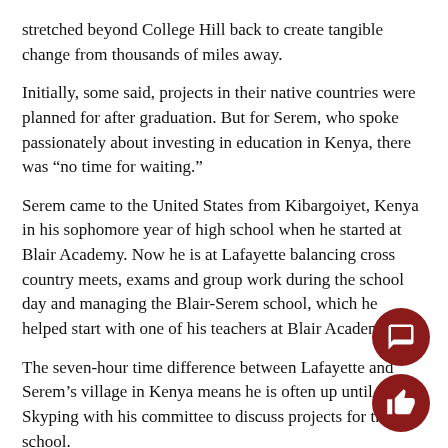stretched beyond College Hill back to create tangible change from thousands of miles away.
Initially, some said, projects in their native countries were planned for after graduation. But for Serem, who spoke passionately about investing in education in Kenya, there was “no time for waiting.”
Serem came to the United States from Kibargoiyet, Kenya in his sophomore year of high school when he started at Blair Academy. Now he is at Lafayette balancing cross country meets, exams and group work during the school day and managing the Blair-Serem school, which he helped start with one of his teachers at Blair Academy.
The seven-hour time difference between Lafayette and Serem’s village in Kenya means he is often up until 3 a.m. Skyping with his committee to discuss projects for the school.
The same can be said for Niroula, who must navigate the nearly hour time difference to reach her team members weekly in Nepal. Niroula, who always knew that she wanted to return home to w… after graduating college, did not initially think she could make a